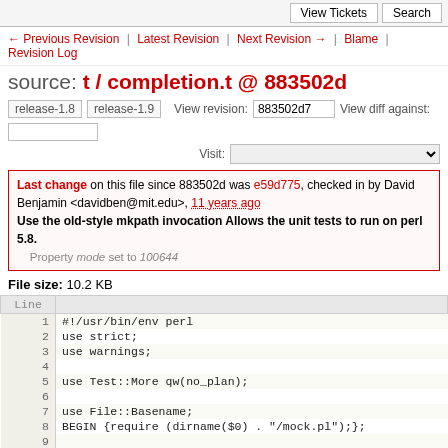View Tickets | Search
← Previous Revision | Latest Revision | Next Revision → | Blame | Revision Log
source: t / completion.t @ 883502d
release-1.8  release-1.9   View revision: 883502d7   View diff against:   Visit:
Last change on this file since 883502d was e59d775, checked in by David Benjamin <davidben@mit.edu>, 11 years ago
Use the old-style mkpath invocation Allows the unit tests to run on perl 5.8.
Property mode set to 100644
File size: 10.2 KB
| Line |  |
| --- | --- |
| 1 | #!/usr/bin/env perl |
| 2 | use strict; |
| 3 | use warnings; |
| 4 |  |
| 5 | use Test::More qw(no_plan); |
| 6 |  |
| 7 | use File::Basename; |
| 8 | BEGIN {require (dirname($0) . "/mock.pl");}; |
| 9 |  |
| 10 | use BarnOwl::Complete::Filter qw(complete_filter_expr); |
| 11 |  |
| 12 | =head1 DESCRIPTION |
| 13 |  |
| 14 | Basic tests for tab-completion functionality. |
| 15 |  |
| 16 | =cut |